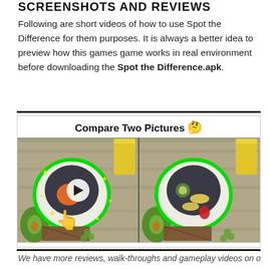SCREENSHOTS AND REVIEWS
Following are short videos of how to use Spot the Difference for them purposes. It is always a better idea to preview how this games game works in real environment before downloading the Spot the Difference.apk.
[Figure (screenshot): Screenshot of 'Spot the Difference' app showing a side-by-side comparison of two food bowl images. Left image has a green ring, stars, and a hand cursor overlay with a play button in the center. Title reads 'Compare Two Pictures' with a thinking emoji.]
We have more reviews, walk-throughs and gameplay videos on our